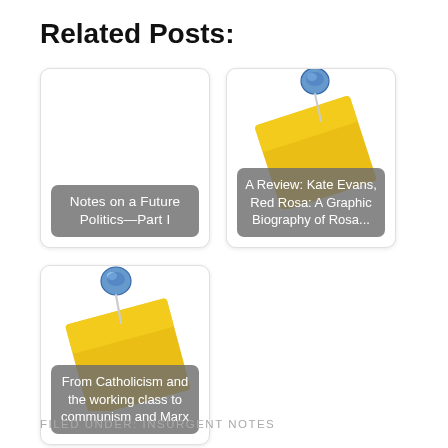Related Posts:
[Figure (illustration): Card 1: white rounded card with gray label overlay reading 'Notes on a Future Politics—Part I', no image/pin]
[Figure (illustration): Card 2: white rounded card with blue pushpin and yellow sticky note image, gray label overlay reading 'A Review: Kate Evans, Red Rosa: A Graphic Biography of Rosa...']
[Figure (illustration): Card 3 (bottom left): white rounded card with blue pushpin and yellow sticky note image, gray label overlay reading 'From Catholicism and the working class to communism and Marx']
FILED UNDER: INSURGENT NOTES